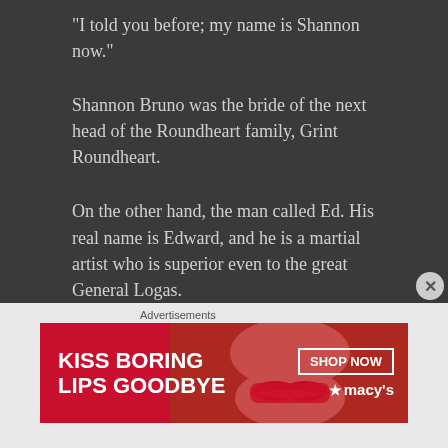“I told you before; my name is Shannon now.”
Shannon Bruno was the bride of the next head of the Roundheart family, Grint Roundheart.
On the other hand, the man called Ed. His real name is Edward, and he is a martial artist who is superior even to the great General Logas.
“Just call me Shannon now.”
“That would be… rude of me.”
“All right then, can we talk about it here?”
Advertisements
[Figure (photo): Macy's advertisement banner: 'KISS BORING LIPS GOODBYE' with a woman's face featuring red lips, and 'SHOP NOW' button with Macy's logo]